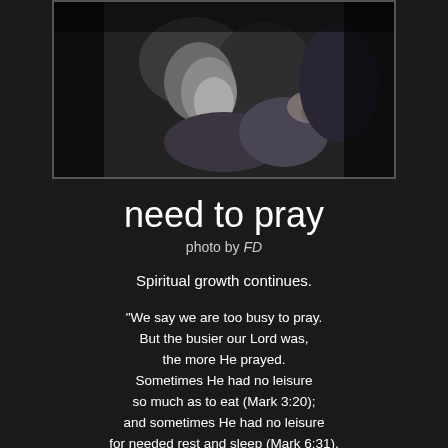[Figure (photo): Black and white photograph of two people sitting together, one appearing to be in prayer or meditation, hands clasped]
need to pray
photo by FD
Spiritual growth continues.
“We say we are too busy to pray. But the busier our Lord was, the more He prayed. Sometimes He had no leisure so much as to eat (Mark 3:20); and sometimes He had no leisure for needed rest and sleep (Mark 6:31). Yet He always took time to pray. If frequent prayer, and, at times, long hours of prayer